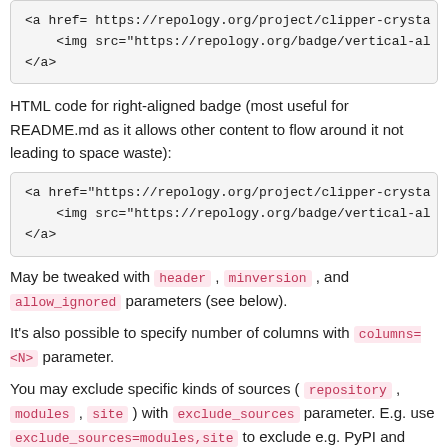<a href="https://repology.org/project/clipper-crysta
    <img src="https://repology.org/badge/vertical-al
</a>
HTML code for right-aligned badge (most useful for README.md as it allows other content to flow around it not leading to space waste):
<a href="https://repology.org/project/clipper-crysta
    <img src="https://repology.org/badge/vertical-al
</a>
May be tweaked with header, minversion, and allow_ignored parameters (see below).
It's also possible to specify number of columns with columns=<N> parameter.
You may exclude specific kinds of sources ( repository, modules, site ) with exclude_sources parameter. E.g. use exclude_sources=modules,site to exclude e.g. PyPI and Wikidata.
You may also exclude old and no longer supported repositories